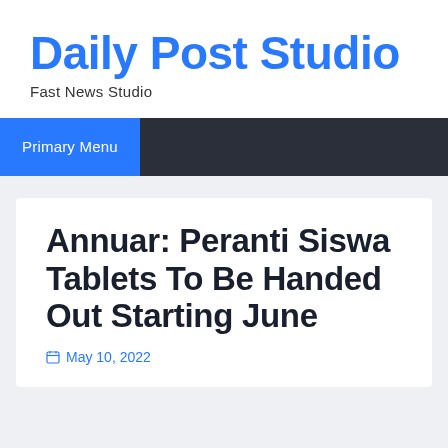Daily Post Studio
Fast News Studio
Primary Menu
Annuar: Peranti Siswa Tablets To Be Handed Out Starting June
May 10, 2022